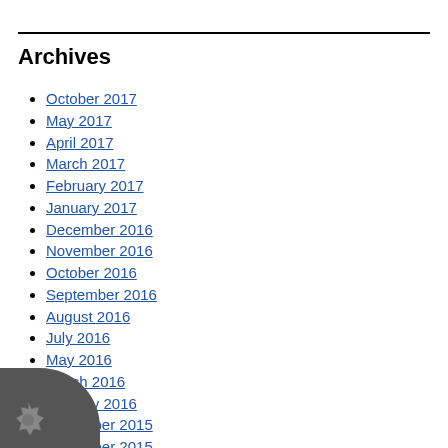Archives
October 2017
May 2017
April 2017
March 2017
February 2017
January 2017
December 2016
November 2016
October 2016
September 2016
August 2016
July 2016
May 2016
March 2016
January 2016
December 2015
November 2015
October 2015